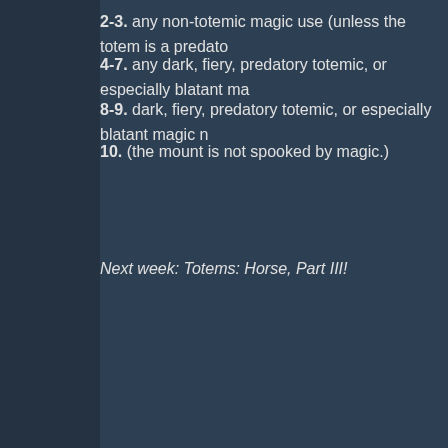2-3. any non-totemic magic use (unless the totem is a predato…
4-7. any dark, fiery, predatory totemic, or especially blatant ma…
8-9. dark, fiery, predatory totemic, or especially blatant magic n…
10. (the mount is not spooked by magic.)
Next week: Totems: Horse, Part III!
By Dan Osarchuk at December 08, 2021
Newer Posts
Home
Subscribe to: Posts (Atom)